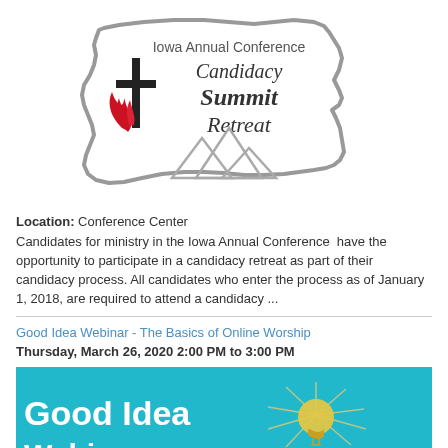[Figure (logo): Iowa Annual Conference Candidacy Summit Retreat logo with United Methodist cross and flame symbol, Iowa state outline, and mountain silhouette]
Location: Conference Center
Candidates for ministry in the Iowa Annual Conference have the opportunity to participate in a candidacy retreat as part of their candidacy process. All candidates who enter the process as of January 1, 2018, are required to attend a candidacy ...
Good Idea Webinar - The Basics of Online Worship
Thursday, March 26, 2020 2:00 PM to 3:00 PM
[Figure (photo): Good Idea Webinars promotional banner with teal background, crumpled paper light bulb, and text 'Good Idea Webinars']